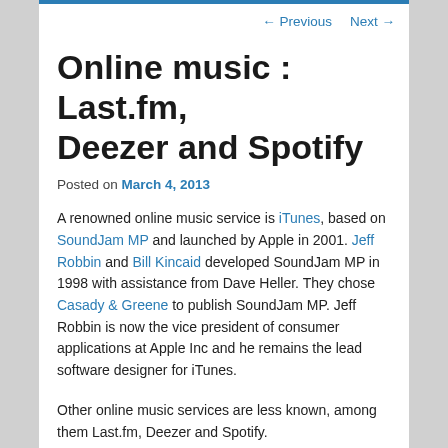← Previous   Next →
Online music : Last.fm, Deezer and Spotify
Posted on March 4, 2013
A renowned online music service is iTunes, based on SoundJam MP and launched by Apple in 2001. Jeff Robbin and Bill Kincaid developed SoundJam MP in 1998 with assistance from Dave Heller. They chose Casady & Greene to publish SoundJam MP. Jeff Robbin is now the vice president of consumer applications at Apple Inc and he remains the lead software designer for iTunes.
Other online music services are less known, among them Last.fm, Deezer and Spotify.